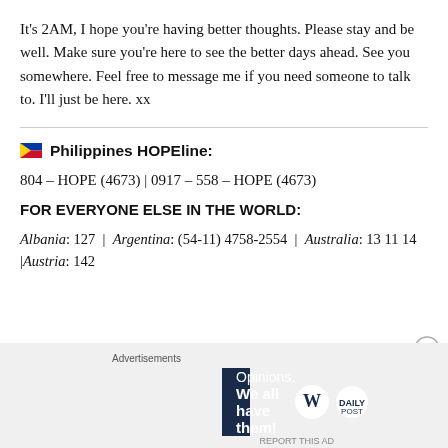It’s 2AM, I hope you’re having better thoughts. Please stay and be well. Make sure you’re here to see the better days ahead. See you somewhere. Feel free to message me if you need someone to talk to. I’ll just be here. xx
🇵🇭 Philippines HOPEline:
804 – HOPE (4673) | 0917 – 558 – HOPE (4673)
FOR EVERYONE ELSE IN THE WORLD:
Albania: 127 | Argentina: (54-11) 4758-2554 | Australia: 13 11 14 |Austria: 142
[Figure (other): Advertisement banner with dark navy background reading 'Opinions. We all have them!' with WordPress and another circular logo on the right.]